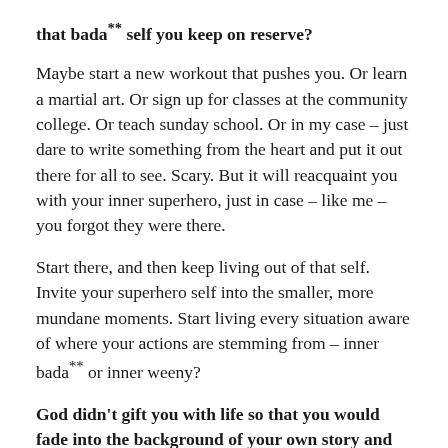that bada** self you keep on reserve?
Maybe start a new workout that pushes you.  Or learn a martial art. Or sign up for classes at the community college.  Or teach sunday school. Or in my case – just dare to write something from the heart and put it out there for all to see.  Scary. But it will reacquaint you with your inner superhero, just in case – like me – you forgot they were there.
Start there, and then keep living out of that self. Invite your superhero self into the smaller, more mundane moments. Start living every situation aware of where your actions are stemming from – inner bada** or inner weeny?
God didn't gift you with life so that you would fade into the background of your own story and quietly exit stage left when it's all done.  You are here to